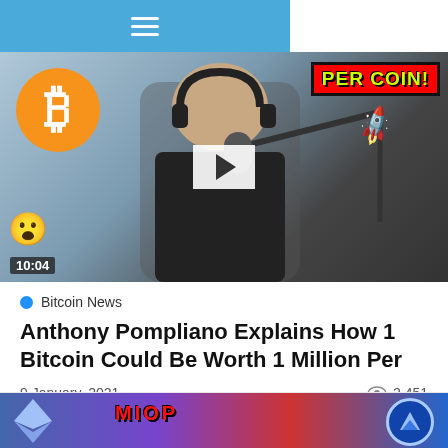☰ (menu)
[Figure (screenshot): Video thumbnail showing a man with headphones in front of a microphone, with a Bitcoin logo on the left, 'PER COIN!' text banner on the right, a rocket emoji, a surprised face emoji, and a play button overlay. Duration stamp shows 10:04.]
Bitcoin News
Anthony Pompliano Explains How 1 Bitcoin Could Be Worth 1 Million Per
9 January, 2021
2,451
[Figure (screenshot): Partial thumbnail of a second article showing colorful graphics with an Ethereum logo on the left, red bold text in the middle, and a blue circle logo on the right.]